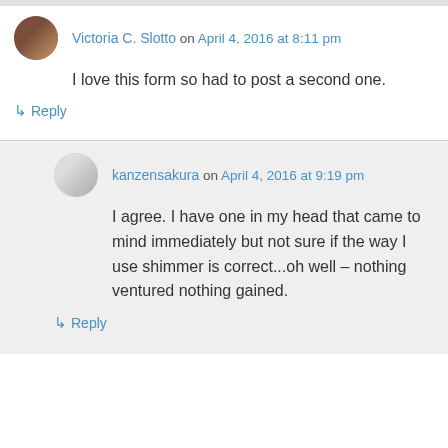Victoria C. Slotto on April 4, 2016 at 8:11 pm
I love this form so had to post a second one.
↳ Reply
kanzensakura on April 4, 2016 at 9:19 pm
I agree. I have one in my head that came to mind immediately but not sure if the way I use shimmer is correct...oh well – nothing ventured nothing gained.
↳ Reply